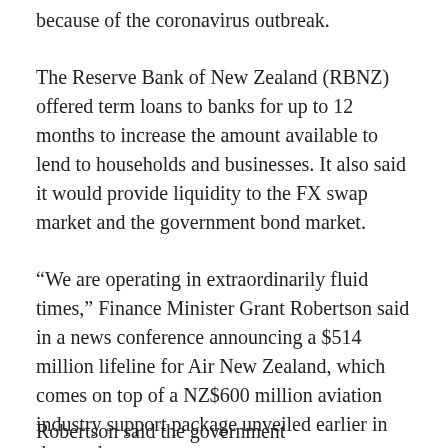because of the coronavirus outbreak.
The Reserve Bank of New Zealand (RBNZ) offered term loans to banks for up to 12 months to increase the amount available to lend to households and businesses. It also said it would provide liquidity to the FX swap market and the government bond market.
“We are operating in extraordinarily fluid times,” Finance Minister Grant Robertson said in a news conference announcing a $514 million lifeline for Air New Zealand, which comes on top of a NZ$600 million aviation industry support package unveiled earlier in the week.
Robertson said the government...